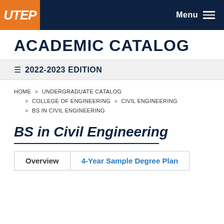UTEP — Menu
ACADEMIC CATALOG
☰ 2022-2023 EDITION
HOME > UNDERGRADUATE CATALOG > COLLEGE OF ENGINEERING > CIVIL ENGINEERING > BS IN CIVIL ENGINEERING
BS in Civil Engineering
Overview   4-Year Sample Degree Plan